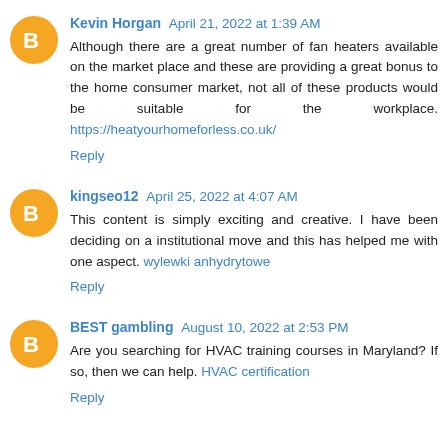Kevin Horgan April 21, 2022 at 1:39 AM
Although there are a great number of fan heaters available on the market place and these are providing a great bonus to the home consumer market, not all of these products would be suitable for the workplace. https://heatyourhomeforless.co.uk/
Reply
kingseo12 April 25, 2022 at 4:07 AM
This content is simply exciting and creative. I have been deciding on a institutional move and this has helped me with one aspect. wylewki anhydrytowe
Reply
BEST gambling August 10, 2022 at 2:53 PM
Are you searching for HVAC training courses in Maryland? If so, then we can help. HVAC certification
Reply